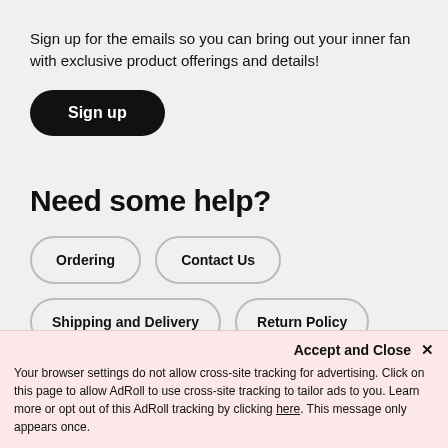Sign up for the emails so you can bring out your inner fan with exclusive product offerings and details!
Sign up
Need some help?
Ordering
Contact Us
Shipping and Delivery
Return Policy
Pre-Orders
Accept and Close ×
Your browser settings do not allow cross-site tracking for advertising. Click on this page to allow AdRoll to use cross-site tracking to tailor ads to you. Learn more or opt out of this AdRoll tracking by clicking here. This message only appears once.